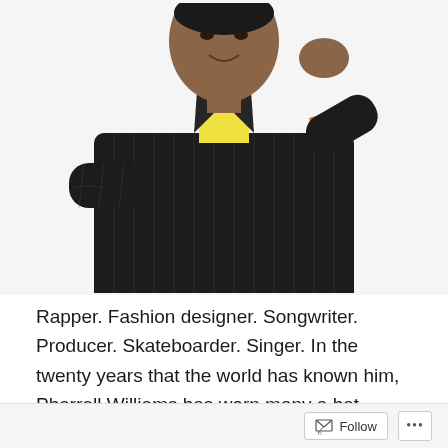[Figure (photo): A man wearing a black pinstripe suit with a yellow undershirt, light blue dress shirt, orange pocket square, and a tie. He is posing with his arms crossed and his head resting on one hand, smiling slightly. Background is white.]
Rapper. Fashion designer. Songwriter. Producer. Skateboarder. Singer. In the twenty years that the world has known him, Pharrell Williams has worn many a hat – some of them his own design, and all of them at the insistence of a muse. As part of the Next wave, Pharrell...
Follow ...